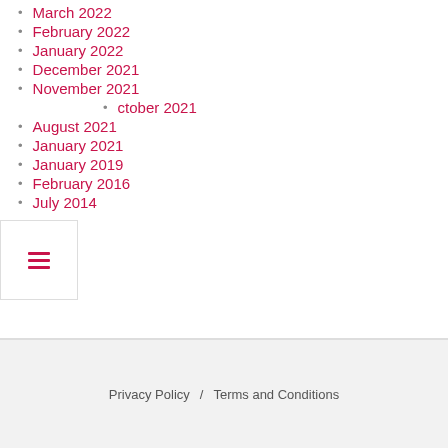March 2022
February 2022
January 2022
December 2021
November 2021
October 2021
August 2021
January 2021
January 2019
February 2016
July 2014
Privacy Policy / Terms and Conditions